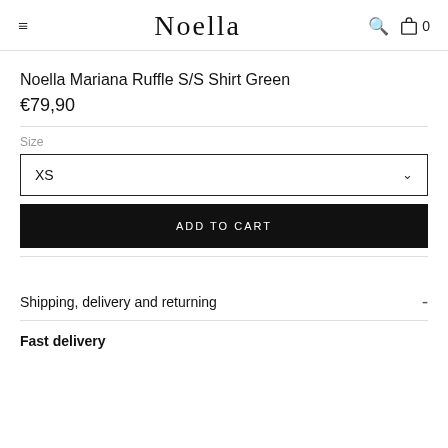Noella
Noella Mariana Ruffle S/S Shirt Green
€79,90
Size
XS
ADD TO CART
Shipping, delivery and returning
Fast delivery